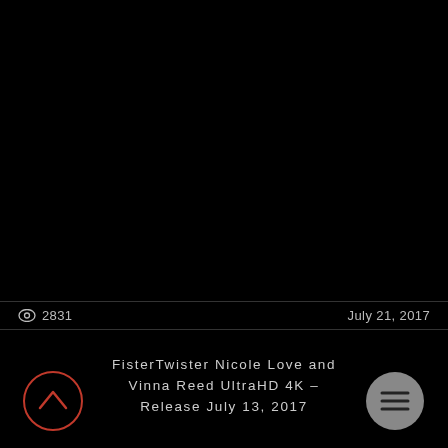[Figure (screenshot): Black video player screen background]
👁 2831   July 21, 2017
FisterTwister Nicole Love and Vinna Reed UltraHD 4K – Release July 13, 2017
[Figure (other): Circular up-arrow button with red outline]
[Figure (other): Circular menu button with grey fill and hamburger icon]